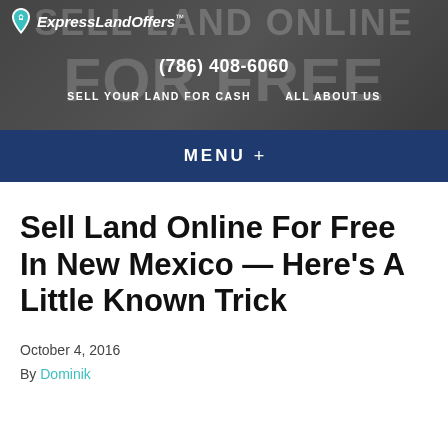[Figure (screenshot): ExpressLandOffers website header banner with logo, phone number (786) 408-6060, navigation links SELL YOUR LAND FOR CASH and ALL ABOUT US, with background text SELL LAND ONLINE and FOR FREE]
MENU +
Sell Land Online For Free In New Mexico — Here's A Little Known Trick
October 4, 2016
By Dominik